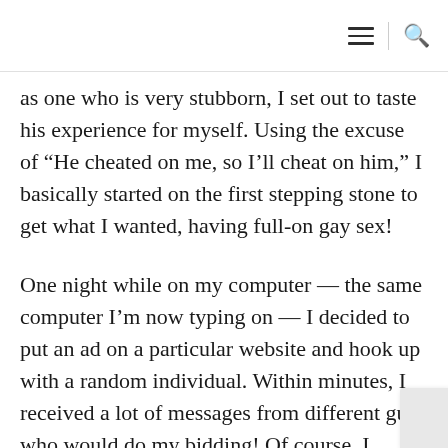as one who is very stubborn, I set out to taste his experience for myself. Using the excuse of “He cheated on me, so I’ll cheat on him,” I basically started on the first stepping stone to get what I wanted, having full-on gay sex!
One night while on my computer — the same computer I’m now typing on — I decided to put an ad on a particular website and hook up with a random individual. Within minutes, I received a lot of messages from different guys who would do my bidding! Of course, I had to pick the hottest guy, but the day and...